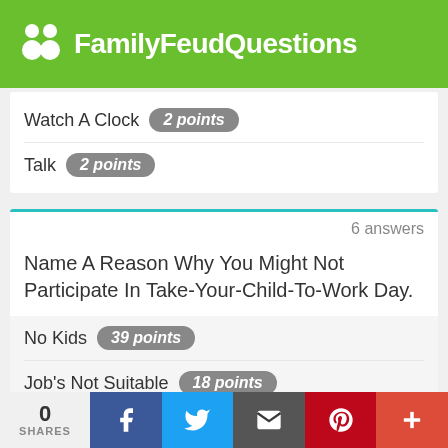FamilyFeudQuestions
Watch A Clock  2 points
Talk  2 points
6 answers
Name A Reason Why You Might Not Participate In Take-Your-Child-To-Work Day.
No Kids  39 points
Job's Not Suitable  18 points
No Job  18 points
Naughty Kid  11 points
Too Busy At Work  7 points
0 SHARES